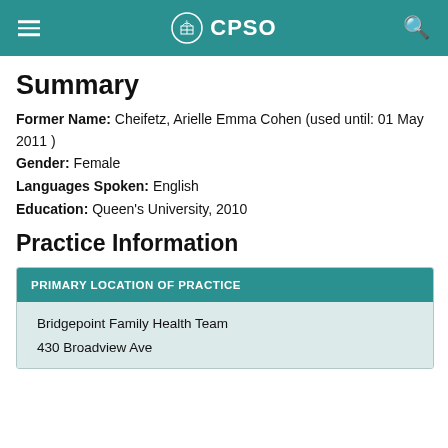CPSO
Summary
Former Name: Cheifetz, Arielle Emma Cohen (used until: 01 May 2011 )
Gender: Female
Languages Spoken: English
Education: Queen's University, 2010
Practice Information
| PRIMARY LOCATION OF PRACTICE |
| --- |
| Bridgepoint Family Health Team | 430 Broadview Ave |